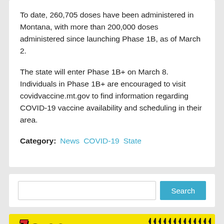To date, 260,705 doses have been administered in Montana, with more than 200,000 doses administered since launching Phase 1B, as of March 2.
The state will enter Phase 1B+ on March 8. Individuals in Phase 1B+ are encouraged to visit covidvaccine.mt.gov to find information regarding COVID-19 vaccine availability and scheduling in their area.
Category: News  COVID-19  State
[Figure (other): Search bar with text input and Search button]
[Figure (logo): Jerry Wessels Tire Center advertisement on yellow background with red italic text and tire tread decorative elements, partial Schwab logo visible at bottom]